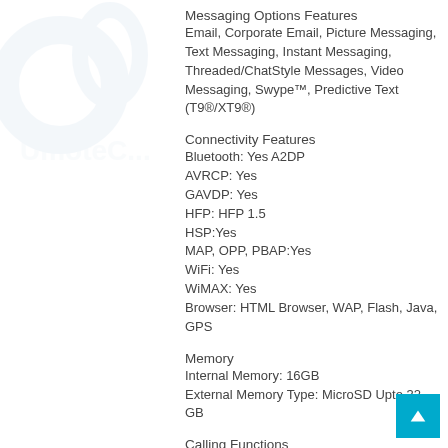[Figure (logo): Faded watermark logo in top-left corner]
Messaging Options Features
Email, Corporate Email, Picture Messaging, Text Messaging, Instant Messaging, Threaded/ChatStyle Messages, Video Messaging, Swype™, Predictive Text (T9®/XT9®)
Connectivity Features
Bluetooth: Yes A2DP
AVRCP: Yes
GAVDP: Yes
HFP: HFP 1.5
HSP:Yes
MAP, OPP, PBAP:Yes
WiFi: Yes
WiMAX: Yes
Browser: HTML Browser, WAP, Flash, Java, GPS
Memory
Internal Memory: 16GB
External Memory Type: MicroSD Upto 32 GB
Calling Functions
Speakerphone: Yes
Voice Recognition: Yes